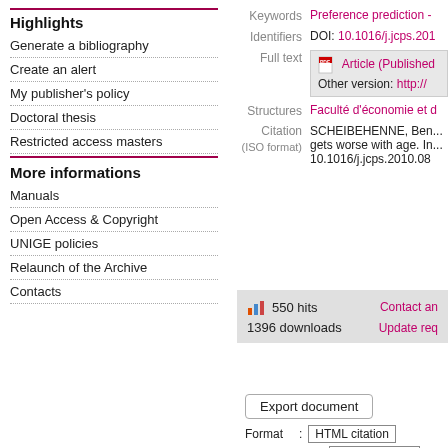Highlights
Generate a bibliography
Create an alert
My publisher's policy
Doctoral thesis
Restricted access masters
More informations
Manuals
Open Access & Copyright
UNIGE policies
Relaunch of the Archive
Contacts
Keywords  Preference prediction -
Identifiers  DOI: 10.1016/j.jcps.201
Full text  Article (Published  Other version: http://
Structures  Faculté d'économie et d
Citation (ISO format)  SCHEIBEHENNE, Ben... gets worse with age. In... 10.1016/j.jcps.2010.08
550 hits   Contact an
1396 downloads   Update req
Export document
Format : HTML citation
Citation style : APA 5th Ameri